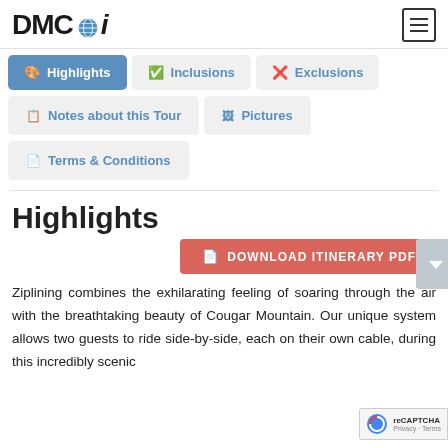DMCi
Highlights | Inclusions | Exclusions
Notes about this Tour | Pictures
Terms & Conditions
Highlights
DOWNLOAD ITINERARY PDF
Ziplining combines the exhilarating feeling of soaring through the air with the breathtaking beauty of Cougar Mountain. Our unique system allows two guests to ride side-by-side, each on their own cable, during this incredibly scenic